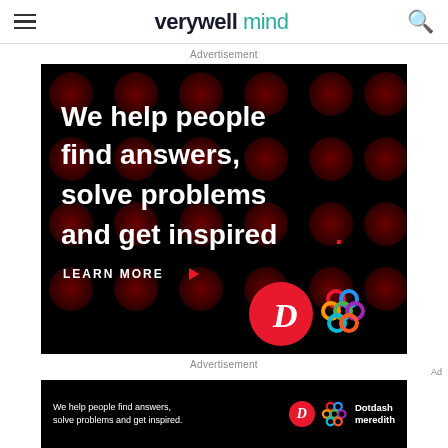verywellmind
Advertisement
[Figure (illustration): Dotdash Meredith advertisement banner on black background with dark red dot pattern. Text reads: 'We help people find answers, solve problems and get inspired.' with 'LEARN MORE' button and Dotdash/Meredith logos.]
Advertisement
[Figure (illustration): Smaller sticky Dotdash Meredith advertisement banner at bottom: 'We help people find answers, solve problems and get inspired.' with logos and 'Dotdash meredith' text.]